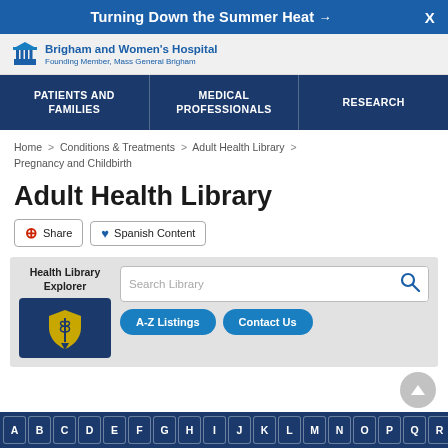Turning Down the Summer Heat →  X
[Figure (logo): Brigham and Women's Hospital logo with columns icon, text: Brigham and Women's Hospital, Founding Member, Mass General Brigham]
PATIENTS AND FAMILIES | MEDICAL PROFESSIONALS | RESEARCH
Home > Conditions & Treatments > Adult Health Library > Pregnancy and Childbirth
Adult Health Library
Share  Spanish Content
Health Library Explorer  Search Library  A-Z Listings  Contact Us
A B C D E F G H I J K L M N O P Q R